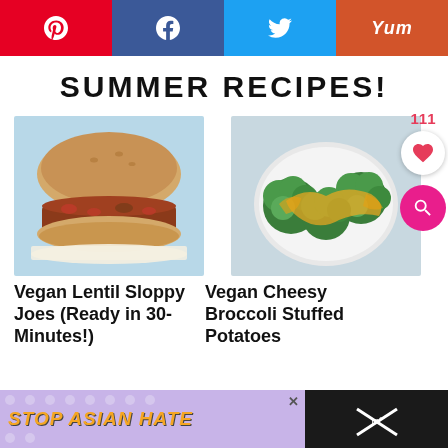[Figure (infographic): Social share buttons bar: Pinterest (red), Facebook (dark blue), Twitter (light blue), Yummly (orange-red)]
SUMMER RECIPES!
[Figure (photo): Photo of a vegan lentil sloppy joe sandwich on a bun, on parchment paper]
[Figure (photo): Photo of vegan cheesy broccoli stuffed potatoes on a white plate, viewed from above]
Vegan Lentil Sloppy Joes (Ready in 30-Minutes!)
Vegan Cheesy Broccoli Stuffed Potatoes
[Figure (infographic): Floating like count 111, heart like button, and pink search button on the right side]
[Figure (infographic): Ad banner at bottom: 'STOP ASIAN HATE' in yellow text on purple background with floral pattern, an X close button, and a dark panel on the right]